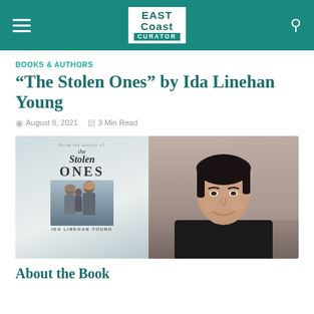East Coast Curator
BOOKS & AUTHORS
“The Stolen Ones” by Ida Linehan Young
August 8, 2021  3 Min Read
[Figure (photo): Composite image showing the book cover of 'The Stolen Ones' by Ida Linehan Young on the left, with two women facing away on the cover, and a photo of the author Ida Linehan Young on the right, against a painted blue background.]
About the Book